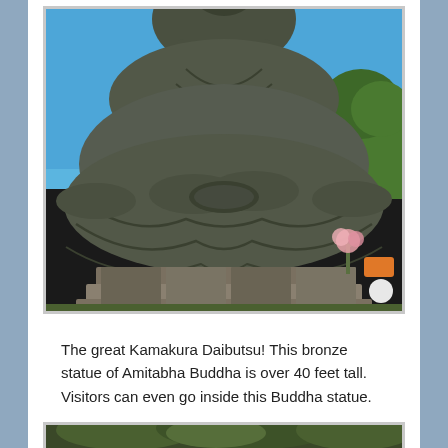[Figure (photo): Close-up photograph of the Great Kamakura Daibutsu bronze Buddha statue against a clear blue sky. The large seated Buddha figure shows detailed robes, folded hands in meditation pose, and a stone pedestal base with flowers.]
The great Kamakura Daibutsu! This bronze statue of Amitabha Buddha is over 40 feet tall. Visitors can even go inside this Buddha statue.
[Figure (photo): Partial view of another Buddha statue or temple scene with trees in the background.]